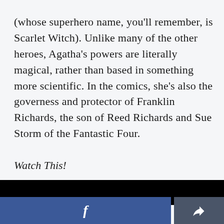(whose superhero name, you'll remember, is Scarlet Witch). Unlike many of the other heroes, Agatha's powers are literally magical, rather than based in something more scientific. In the comics, she's also the governess and protector of Franklin Richards, the son of Reed Richards and Sue Storm of the Fantastic Four.
Watch This!
[Figure (screenshot): Black panel area below the text content, representing a video player or media embed area]
[Figure (screenshot): Bottom navigation bar with Facebook share button (blue, 'f' icon) on the left and a share/export button (dark gray, share icon) on the right]